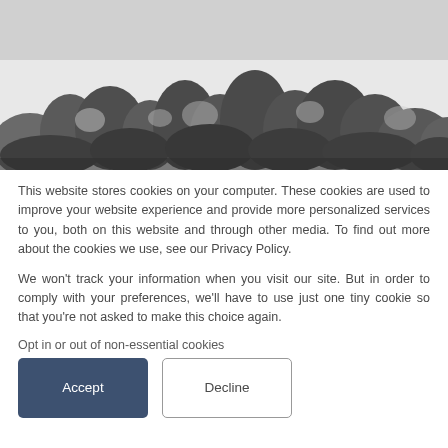[Figure (photo): Blurred black and white photograph of trees/treeline landscape backdrop]
This website stores cookies on your computer. These cookies are used to improve your website experience and provide more personalized services to you, both on this website and through other media. To find out more about the cookies we use, see our Privacy Policy.

We won't track your information when you visit our site. But in order to comply with your preferences, we'll have to use just one tiny cookie so that you're not asked to make this choice again.
Opt in or out of non-essential cookies
Accept
Decline